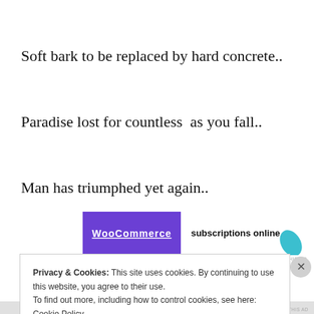Soft bark to be replaced by hard concrete..
Paradise lost for countless  as you fall..
Man has triumphed yet again..
[Figure (other): WooCommerce advertisement banner with purple logo section and 'subscriptions online' text with a teal leaf graphic]
REPORT THIS AD
Privacy & Cookies: This site uses cookies. By continuing to use this website, you agree to their use.
To find out more, including how to control cookies, see here: Cookie Policy
Close and accept